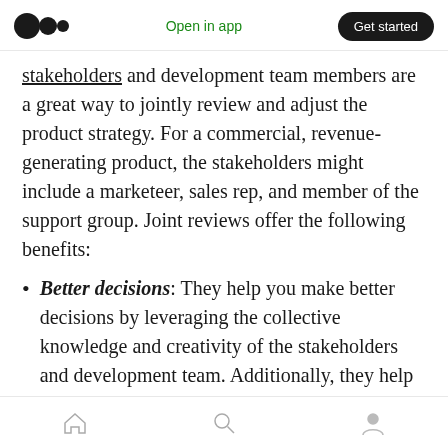Open in app | Get started
stakeholders and development team members are a great way to jointly review and adjust the product strategy. For a commercial, revenue-generating product, the stakeholders might include a marketeer, sales rep, and member of the support group. Joint reviews offer the following benefits:
Better decisions: They help you make better decisions by leveraging the collective knowledge and creativity of the stakeholders and development team. Additionally, they help you consider different viewpoints
Home | Search | Profile